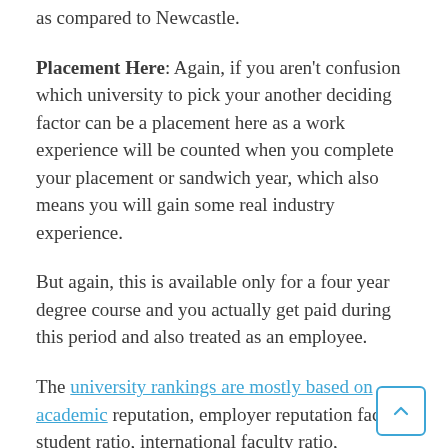as compared to Newcastle.
Placement Here: Again, if you aren't confusion which university to pick your another deciding factor can be a placement here as a work experience will be counted when you complete your placement or sandwich year, which also means you will gain some real industry experience.
But again, this is available only for a four year degree course and you actually get paid during this period and also treated as an employee.
The university rankings are mostly based on academic reputation, employer reputation faculty student ratio, international faculty ratio, international student ratio, which means for you as international